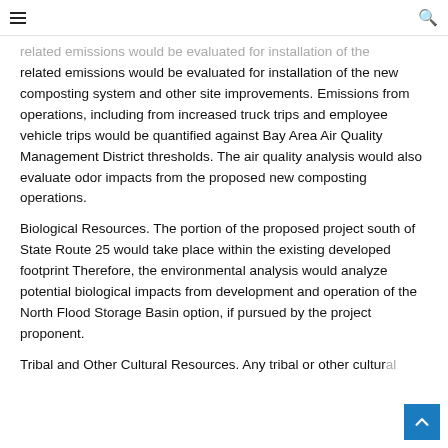≡   🔍
related emissions would be evaluated for installation of the new composting system and other site improvements. Emissions from operations, including from increased truck trips and employee vehicle trips would be quantified against Bay Area Air Quality Management District thresholds. The air quality analysis would also evaluate odor impacts from the proposed new composting operations.
Biological Resources. The portion of the proposed project south of State Route 25 would take place within the existing developed footprint Therefore, the environmental analysis would analyze potential biological impacts from development and operation of the North Flood Storage Basin option, if pursued by the project proponent.
Tribal and Other Cultural Resources. Any tribal or other cultural